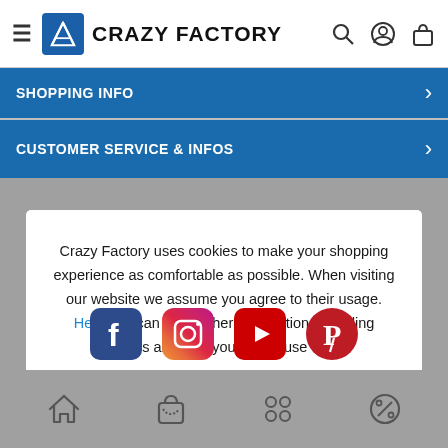Crazy Factory
SHOPPING INFO
CUSTOMER SERVICE & INFOS
Crazy Factory uses cookies to make your shopping experience as comfortable as possible. When visiting our website we assume you agree to their usage. Here you can find further information regarding cookies and how you can refuse them.
[Figure (screenshot): OK button for cookie consent dialog]
[Figure (infographic): Social media icons: Facebook, Instagram, YouTube, Pinterest]
[Figure (infographic): Bottom navigation bar icons: home, shopping bag, categories, deals/percent]